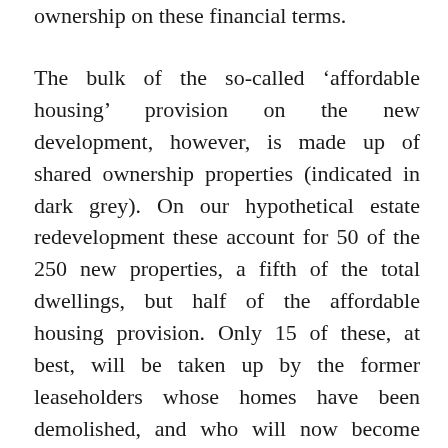ownership on these financial terms.
The bulk of the so-called ‘affordable housing’ provision on the new development, however, is made up of shared ownership properties (indicated in dark grey). On our hypothetical estate redevelopment these account for 50 of the 250 new properties, a fifth of the total dwellings, but half of the affordable housing provision. Only 15 of these, at best, will be taken up by the former leaseholders whose homes have been demolished, and who will now become assured tenants. The remaining 35 are for new residents looking to get on the housing ladder, but willing to...